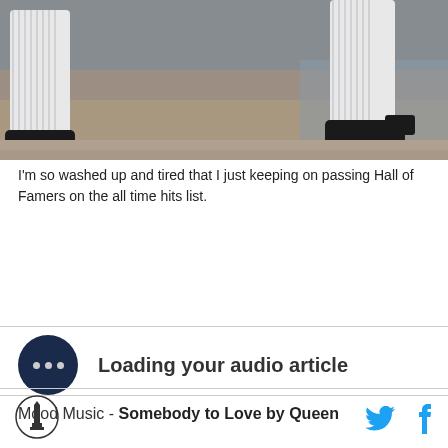[Figure (photo): Baseball player running, showing lower legs and cleats on a dirt field, pinstripe uniform visible]
I'm so washed up and tired that I just keeping on passing Hall of Famers on the all time hits list.
[Figure (infographic): Audio article loading widget with dark circular icon with three dots and text 'Loading your audio article']
Mood Music - Somebody to Love by Queen
[Figure (logo): Site logo in footer - circular emblem with building/monument icon]
[Figure (infographic): Social media icons: Twitter bird icon and Facebook f icon in blue]